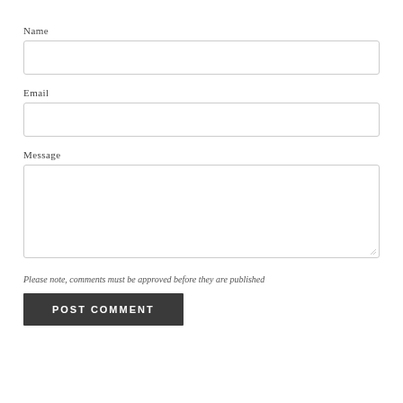Name
[Figure (other): Empty text input field for Name]
Email
[Figure (other): Empty text input field for Email]
Message
[Figure (other): Empty textarea input field for Message with resize handle]
Please note, comments must be approved before they are published
POST COMMENT